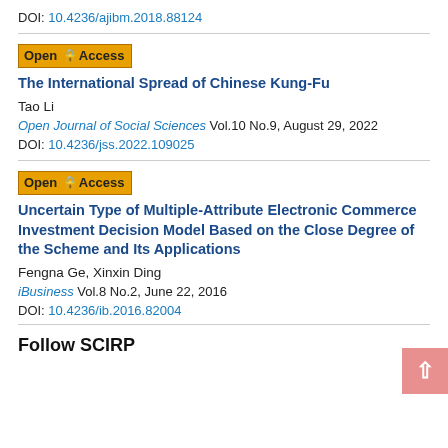DOI: 10.4236/ajibm.2018.88124
The International Spread of Chinese Kung-Fu
Tao Li
Open Journal of Social Sciences Vol.10 No.9, August 29, 2022
DOI: 10.4236/jss.2022.109025
Uncertain Type of Multiple-Attribute Electronic Commerce Investment Decision Model Based on the Close Degree of the Scheme and Its Applications
Fengna Ge, Xinxin Ding
iBusiness Vol.8 No.2, June 22, 2016
DOI: 10.4236/ib.2016.82004
Follow SCIRP